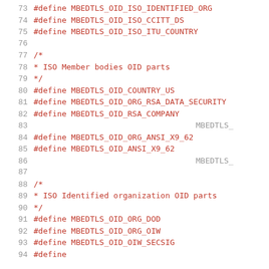73  #define MBEDTLS_OID_ISO_IDENTIFIED_ORG
74  #define MBEDTLS_OID_ISO_CCITT_DS
75  #define MBEDTLS_OID_ISO_ITU_COUNTRY
76
77  /*
78   * ISO Member bodies OID parts
79   */
80  #define MBEDTLS_OID_COUNTRY_US
81  #define MBEDTLS_OID_ORG_RSA_DATA_SECURITY
82  #define MBEDTLS_OID_RSA_COMPANY
83                                             MBEDTLS_
84  #define MBEDTLS_OID_ORG_ANSI_X9_62
85  #define MBEDTLS_OID_ANSI_X9_62
86                                             MBEDTLS_
87
88  /*
89   * ISO Identified organization OID parts
90   */
91  #define MBEDTLS_OID_ORG_DOD
92  #define MBEDTLS_OID_ORG_OIW
93  #define MBEDTLS_OID_OIW_SECSIG
94  #define ...